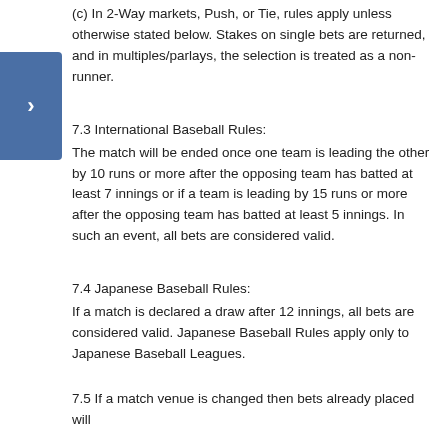(c) In 2-Way markets, Push, or Tie, rules apply unless otherwise stated below. Stakes on single bets are returned, and in multiples/parlays, the selection is treated as a non-runner.
7.3 International Baseball Rules:
The match will be ended once one team is leading the other by 10 runs or more after the opposing team has batted at least 7 innings or if a team is leading by 15 runs or more after the opposing team has batted at least 5 innings. In such an event, all bets are considered valid.
7.4 Japanese Baseball Rules:
If a match is declared a draw after 12 innings, all bets are considered valid. Japanese Baseball Rules apply only to Japanese Baseball Leagues.
7.5 If a match venue is changed then bets already placed will